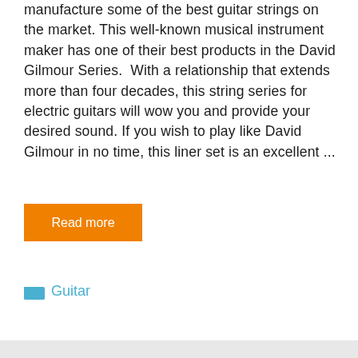manufacture some of the best guitar strings on the market. This well-known musical instrument maker has one of their best products in the David Gilmour Series.  With a relationship that extends more than four decades, this string series for electric guitars will wow you and provide your desired sound. If you wish to play like David Gilmour in no time, this liner set is an excellent ...
Read more
Guitar